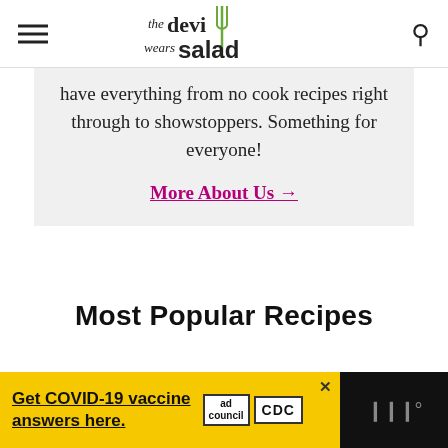the devi wears salad
have everything from no cook recipes right through to showstoppers. Something for everyone!
More About Us →
Most Popular Recipes
[Figure (screenshot): Advertisement banner: Get COVID-19 vaccine answers here. Ad Council and CDC logos on yellow background.]